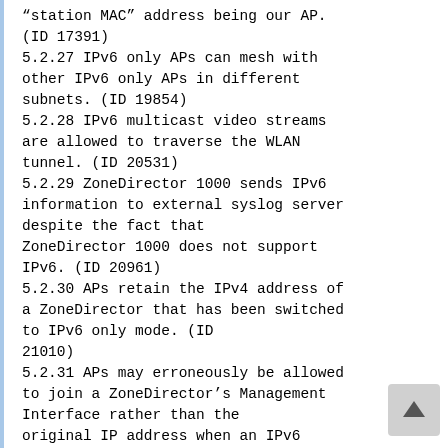“station MAC” address being our AP. (ID 17391)
5.2.27 IPv6 only APs can mesh with other IPv6 only APs in different subnets. (ID 19854)
5.2.28 IPv6 multicast video streams are allowed to traverse the WLAN tunnel. (ID 20531)
5.2.29 ZoneDirector 1000 sends IPv6 information to external syslog server despite the fact that ZoneDirector 1000 does not support IPv6. (ID 20961)
5.2.30 APs retain the IPv4 address of a ZoneDirector that has been switched to IPv6 only mode. (ID 21010)
5.2.31 APs may erroneously be allowed to join a ZoneDirector’s Management Interface rather than the original IP address when an IPv6 Management Interface is enabled and